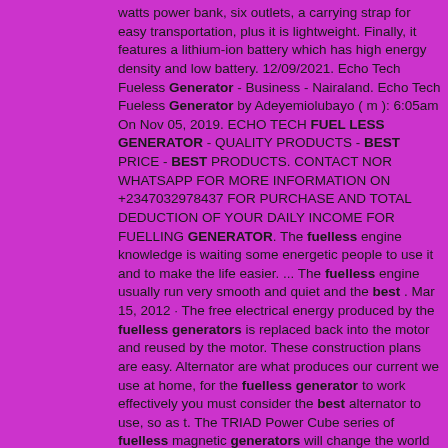watts power bank, six outlets, a carrying strap for easy transportation, plus it is lightweight. Finally, it features a lithium-ion battery which has high energy density and low battery. 12/09/2021. Echo Tech Fueless Generator - Business - Nairaland. Echo Tech Fueless Generator by Adeyemiolubayo ( m ): 6:05am On Nov 05, 2019. ECHO TECH FUEL LESS GENERATOR - QUALITY PRODUCTS - BEST PRICE - BEST PRODUCTS. CONTACT NOR WHATSAPP FOR MORE INFORMATION ON +2347032978437 FOR PURCHASE AND TOTAL DEDUCTION OF YOUR DAILY INCOME FOR FUELLING GENERATOR. The fuelless engine knowledge is waiting some energetic people to use it and to make the life easier. ... The fuelless engine usually run very smooth and quiet and the best . Mar 15, 2012 · The free electrical energy produced by the fuelless generators is replaced back into the motor and reused by the motor. These construction plans are easy. Alternator are what produces our current we use at home, for the fuelless generator to work effectively you must consider the best alternator to use, so as t. The TRIAD Power Cube series of fuelless magnetic generators will change the world for the better by eliminating our dependence on all fossil fuels and nuclear. This technology is our future! ... Best Selling. Featured; Best Selling; Alphabetically, A-Z; Alphabetically, Z-A; Price, low